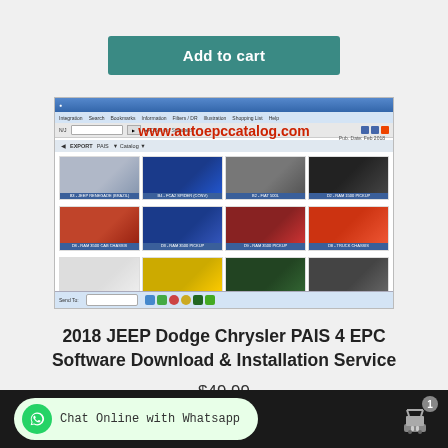Add to cart
[Figure (screenshot): Screenshot of 2018 JEEP Dodge Chrysler PAIS 4 EPC software interface showing a grid of vehicle thumbnails with www.autoepccatalog.com watermark]
2018 JEEP Dodge Chrysler PAIS 4 EPC Software Download & Installation Service
$49.99
Chat Online with Whatsapp